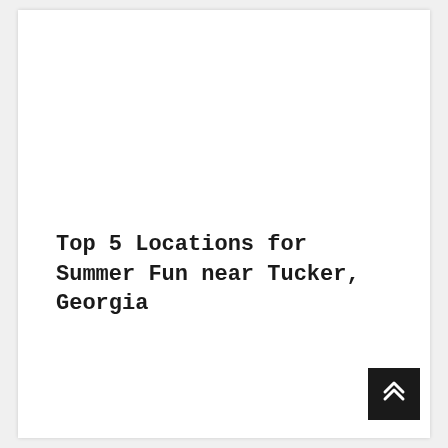Top 5 Locations for Summer Fun near Tucker, Georgia